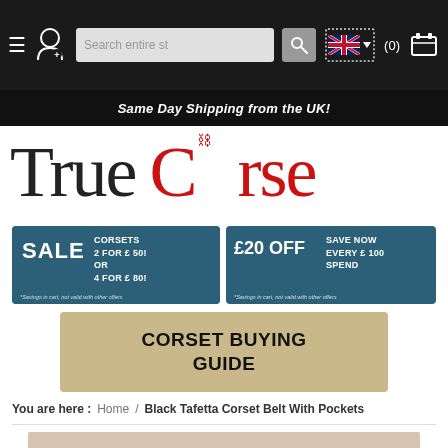[Figure (screenshot): Navigation bar with hamburger menu, user icon, search bar, UK flag, cart icon on dark background]
Same Day Shipping from the UK!
[Figure (logo): True Corse logo — 'True' in dark serif, 'Corse' in red serif with corset charm replacing letter O]
[Figure (infographic): Sale banner: SALE CORSETS 2 FOR £50! OR 4 FOR £80! with footnote: *Savings in cart, not valid with other offers]
[Figure (infographic): £20 OFF SAVE NOW EVERY £100 SPEND with footnote: *Savings in cart, not valid with other offers]
[Figure (infographic): CORSET BUYING GUIDE banner in tan/beige with dark bold text]
You are here :  Home  /  Black Tafetta Corset Belt With Pockets
[Figure (photo): Partial product image of Black Tafetta Corset Belt With Pockets visible at page bottom]